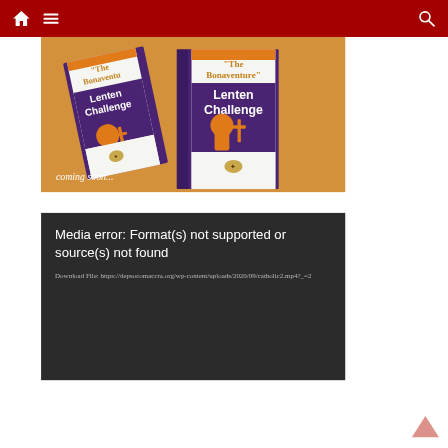Navigation bar with home, menu, and search icons
[Figure (photo): Two copies of 'The Bonaventure Lenten Challenge' book displayed on an orange/yellow background with 'coming soon...' text overlay]
Media error: Format(s) not supported or source(s) not found
Download File: https://depsocomaccra.org/wp-content/uploads/2020/09/catholic2.mp4?_=2